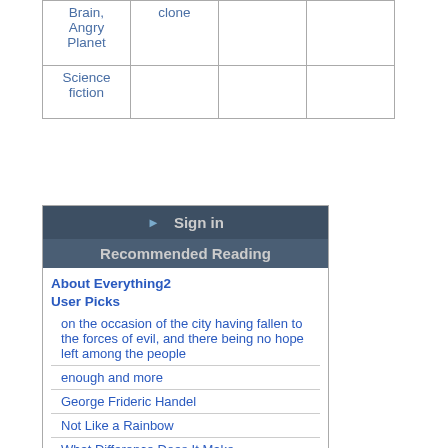| Brain,
Angry Planet | clone |  |  |
| Science fiction |  |  |  |
Sign in
Recommended Reading
About Everything2
User Picks
on the occasion of the city having fallen to the forces of evil, and there being no hope left among the people
enough and more
George Frideric Handel
Not Like a Rainbow
What Difference Does It Make
The lady fox
Editor Picks
Deliberately dropping pennies
I Sing the Body Electric
Australia
e
apostrophe
Synesthesia